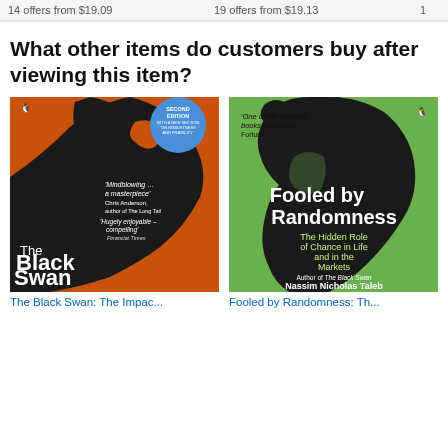14 offers from $19.09    19 offers from $19.13    1...
What other items do customers buy after viewing this item?
[Figure (photo): Book cover: The Black Swan: The Impact of the Highly Improbable by Nassim Nicholas Taleb. Second Edition. Orange and black design with swan silhouette. Quotes: 'Mindblowing... a masterpiece' Chris Anderson, 'Hugely enjoyable – compelling' Financial Times.]
[Figure (photo): Book cover: Fooled by Randomness: The Hidden Role of Chance in Life and in the Markets by Nassim Nicholas Taleb. Green background with black cat silhouette. Quote: 'One of the smartest books of all time' Fortune.]
The Black Swan: The Impac...
Fooled by Randomness: Th...